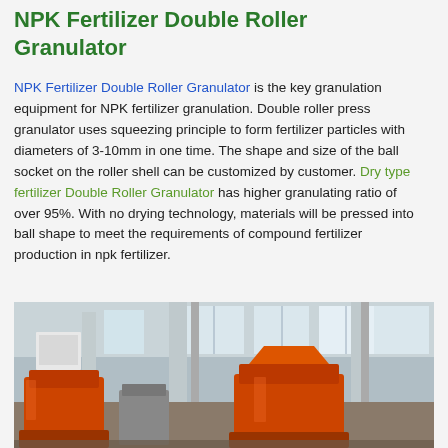NPK Fertilizer Double Roller Granulator
NPK Fertilizer Double Roller Granulator is the key granulation equipment for NPK fertilizer granulation. Double roller press granulator uses squeezing principle to form fertilizer particles with diameters of 3-10mm in one time. The shape and size of the ball socket on the roller shell can be customized by customer. Dry type fertilizer Double Roller Granulator has higher granulating ratio of over 95%. With no drying technology, materials will be pressed into ball shape to meet the requirements of compound fertilizer production in npk fertilizer.
[Figure (photo): Industrial photo of NPK Fertilizer Double Roller Granulator machines in a factory setting, showing orange/red granulator equipment with large cylindrical columns and factory windows in the background.]